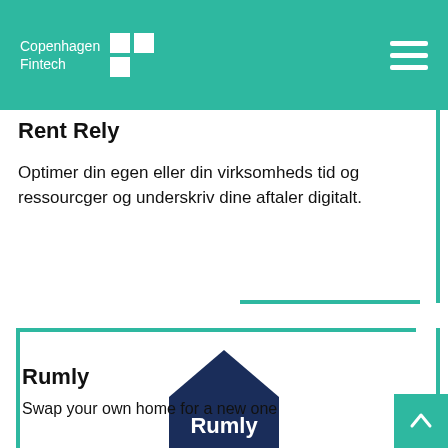Copenhagen Fintech
Rent Rely
Optimer din egen eller din virksomheds tid og ressourcer og underskriv dine aftaler digitalt.
[Figure (logo): Rumly logo - dark navy house/building shape with 'Rumly' text in white]
Rumly
Swap your own home for a new one